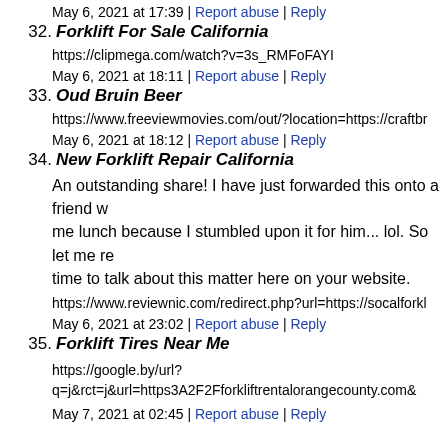May 6, 2021 at 17:39 | Report abuse | Reply
32. Forklift For Sale California
https://clipmega.com/watch?v=3s_RMFoFAYI
May 6, 2021 at 18:11 | Report abuse | Reply
33. Oud Bruin Beer
https://www.freeviewmovies.com/out/?location=https://craftbr
May 6, 2021 at 18:12 | Report abuse | Reply
34. New Forklift Repair California
An outstanding share! I have just forwarded this onto a friend who had been conducting a little research on this. And he actually bought me lunch because I stumbled upon it for him... lol. So let me reword this.... Thank YOU for the time to talk about this matter here on your website.
https://www.reviewnic.com/redirect.php?url=https://socalforkl
May 6, 2021 at 23:02 | Report abuse | Reply
35. Forklift Tires Near Me
https://google.by/url?q=j&rct=j&url=https3A2F2Fforkliftrentalorangecounty.com&
May 7, 2021 at 02:45 | Report abuse | Reply